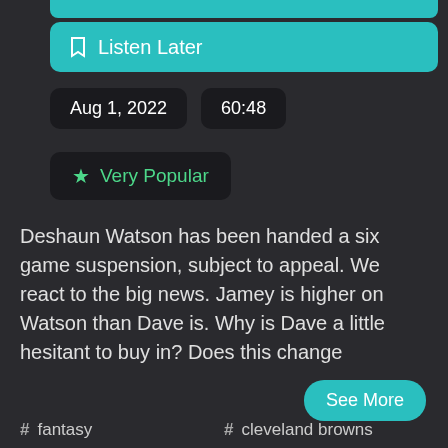[Figure (screenshot): Teal partial button bar at top]
Listen Later
Aug 1, 2022   60:48
Very Popular
Deshaun Watson has been handed a six game suspension, subject to appeal. We react to the big news. Jamey is higher on Watson than Dave is. Why is Dave a little hesitant to buy in? Does this change
See More
# fantasy
# cleveland browns
# bust
person deshaun watson
person derrick henry
person ezekiel elliott